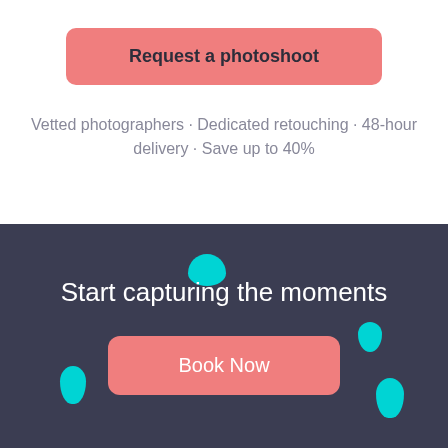[Figure (screenshot): Coral/salmon colored rounded button labeled 'Request a photoshoot']
Vetted photographers · Dedicated retouching · 48-hour delivery · Save up to 40%
[Figure (illustration): Dark blue-grey banner section with teal decorative location pin blobs, containing 'Start capturing the moments' headline and a 'Book Now' coral button]
Start capturing the moments
[Figure (screenshot): Coral/salmon colored rounded button labeled 'Book Now']